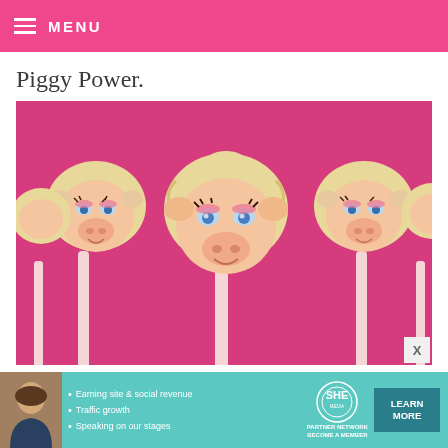MENU
Piggy Power.
[Figure (photo): Multiple Miss Piggy cake pops on sticks against a hot pink background. The cake pops are decorated to look like Miss Piggy faces with blonde hair, blue eyes with pink eye shadow, pig snouts, and smiling expressions.]
[Figure (infographic): Advertisement banner for SHE Partner Network. Features a woman's photo on the left, bullet points: 'Earning site & social revenue', 'Traffic growth', 'Speaking on our stages', the SHE Media logo with 'PARTNER NETWORK BECOME A MEMBER' text, and a teal 'LEARN MORE' button.]